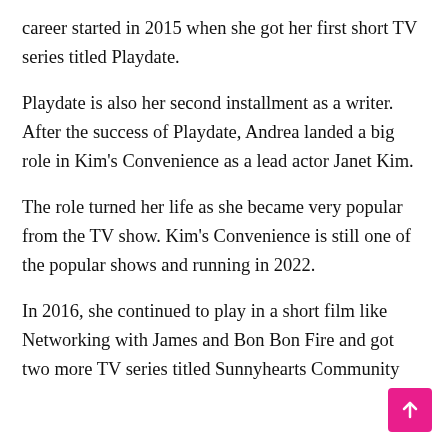career started in 2015 when she got her first short TV series titled Playdate.
Playdate is also her second installment as a writer. After the success of Playdate, Andrea landed a big role in Kim's Convenience as a lead actor Janet Kim.
The role turned her life as she became very popular from the TV show. Kim's Convenience is still one of the popular shows and running in 2022.
In 2016, she continued to play in a short film like Networking with James and Bon Bon Fire and got two more TV series titled Sunnyhearts Community and...